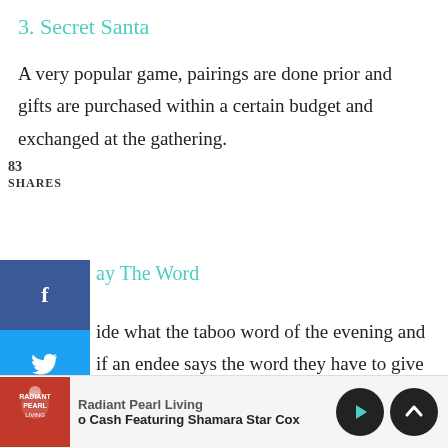3. Secret Santa
A very popular game, pairings are done prior and gifts are purchased within a certain budget and exchanged at the gathering.
83
SHARES
ay The Word
ide what the taboo word of the evening and if an endee says the word they have to give their candy cane away to the person who identified they said the
Radiant Pearl Living
o Cash Featuring Shamara Star Cox